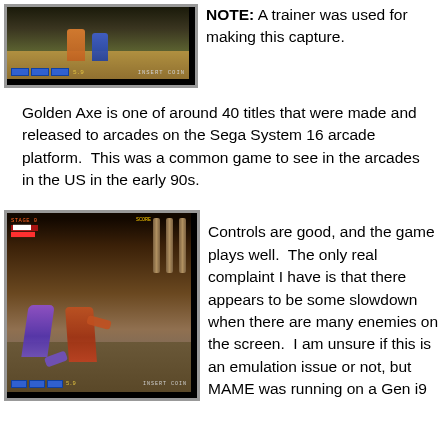[Figure (screenshot): Golden Axe arcade game screenshot showing characters fighting on a sandy arena with INSERT COIN message and health bars at bottom]
NOTE: A trainer was used for making this capture.
Golden Axe is one of around 40 titles that were made and released to arcades on the Sega System 16 arcade platform.  This was a common game to see in the arcades in the US in the early 90s.
[Figure (screenshot): Golden Axe arcade game screenshot showing two characters fighting in a stone castle corridor with STAGE 0 HUD, health bars and INSERT COIN message]
Controls are good, and the game plays well.  The only real complaint I have is that there appears to be some slowdown when there are many enemies on the screen.  I am unsure if this is an emulation issue or not, but MAME was running on a Gen i9